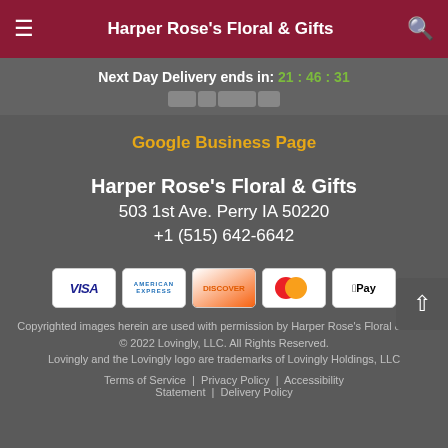Harper Rose's Floral & Gifts
Next Day Delivery ends in: 21:46:31
Google Business Page
Harper Rose's Floral & Gifts
503 1st Ave. Perry IA 50220
+1 (515) 642-6642
[Figure (other): Payment method icons: VISA, American Express, Discover, Mastercard, Apple Pay]
Copyrighted images herein are used with permission by Harper Rose's Floral & Gifts.
© 2022 Lovingly, LLC. All Rights Reserved.
Lovingly and the Lovingly logo are trademarks of Lovingly Holdings, LLC
Terms of Service | Privacy Policy | Accessibility Statement | Delivery Policy